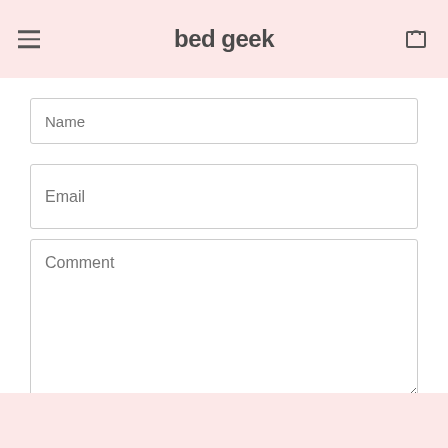bed geek
Name
Email
Comment
SUBMIT COMMENT